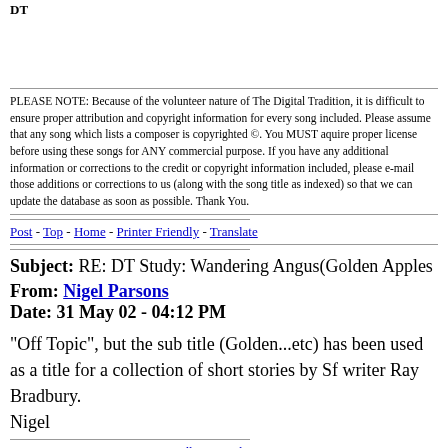DT
PLEASE NOTE: Because of the volunteer nature of The Digital Tradition, it is difficult to ensure proper attribution and copyright information for every song included. Please assume that any song which lists a composer is copyrighted ©. You MUST aquire proper license before using these songs for ANY commercial purpose. If you have any additional information or corrections to the credit or copyright information included, please e-mail those additions or corrections to us (along with the song title as indexed) so that we can update the database as soon as possible. Thank You.
Post - Top - Home - Printer Friendly - Translate
Subject: RE: DT Study: Wandering Angus(Golden Apples
From: Nigel Parsons
Date: 31 May 02 - 04:12 PM
"Off Topic", but the sub title (Golden...etc) has been used as a title for a collection of short stories by Sf writer Ray Bradbury.
Nigel
Post - Top - Home - Printer Friendly - Translate
Subject: Lyr Add: THE SONG OF WANDERING AENGUS (W